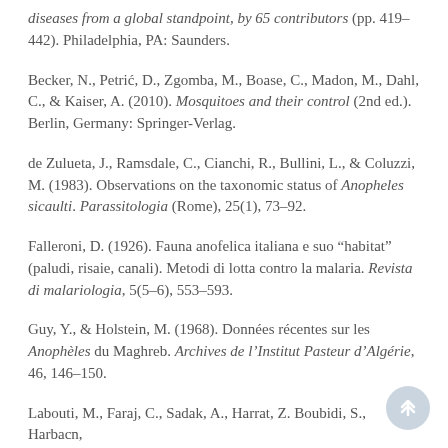diseases from a global standpoint, by 65 contributors (pp. 419–442). Philadelphia, PA: Saunders.
Becker, N., Petrić, D., Zgomba, M., Boase, C., Madon, M., Dahl, C., & Kaiser, A. (2010). Mosquitoes and their control (2nd ed.). Berlin, Germany: Springer-Verlag.
de Zulueta, J., Ramsdale, C., Cianchi, R., Bullini, L., & Coluzzi, M. (1983). Observations on the taxonomic status of Anopheles sicaulti. Parassitologia (Rome), 25(1), 73–92.
Falleroni, D. (1926). Fauna anofelica italiana e suo "habitat" (paludi, risaie, canali). Metodi di lotta contro la malaria. Revista di malariologia, 5(5–6), 553–593.
Guy, Y., & Holstein, M. (1968). Données récentes sur les Anophèles du Maghreb. Archives de l'Institut Pasteur d'Algérie, 46, 146–150.
Labouti, M., Faraj, C., Sadak, A., Harrat, Z. Boubidi, S., Harbach, R. E., Tillard, E., & Metge, U. (2011). Di Mos...